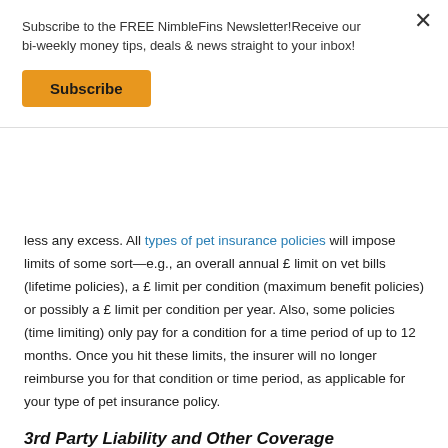Subscribe to the FREE NimbleFins Newsletter!Receive our bi-weekly money tips, deals & news straight to your inbox!
Subscribe
less any excess. All types of pet insurance policies will impose limits of some sort—e.g., an overall annual £ limit on vet bills (lifetime policies), a £ limit per condition (maximum benefit policies) or possibly a £ limit per condition per year. Also, some policies (time limiting) only pay for a condition for a time period of up to 12 months. Once you hit these limits, the insurer will no longer reimburse you for that condition or time period, as applicable for your type of pet insurance policy.
3rd Party Liability and Other Coverage